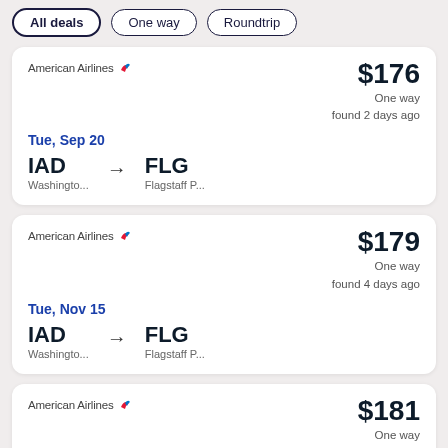All deals | One way | Roundtrip
American Airlines | $176 | One way | found 2 days ago | Tue, Sep 20 | IAD Washingto... → FLG Flagstaff P...
American Airlines | $179 | One way | found 4 days ago | Tue, Nov 15 | IAD Washingto... → FLG Flagstaff P...
American Airlines | $181 | One way | found 3 days ago